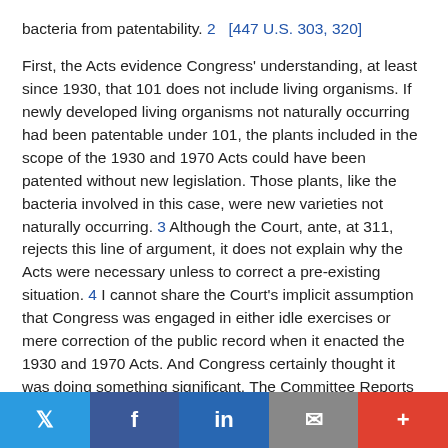bacteria from patentability. 2  [447 U.S. 303, 320]
First, the Acts evidence Congress' understanding, at least since 1930, that 101 does not include living organisms. If newly developed living organisms not naturally occurring had been patentable under 101, the plants included in the scope of the 1930 and 1970 Acts could have been patented without new legislation. Those plants, like the bacteria involved in this case, were new varieties not naturally occurring. 3 Although the Court, ante, at 311, rejects this line of argument, it does not explain why the Acts were necessary unless to correct a pre-existing situation. 4 I cannot share the Court's implicit assumption that Congress was engaged in either idle exercises or mere correction of the public record when it enacted the 1930 and 1970 Acts. And Congress certainly thought it was doing something significant. The Committee Reports contain expensive prose
Twitter | Facebook | LinkedIn | Email | +